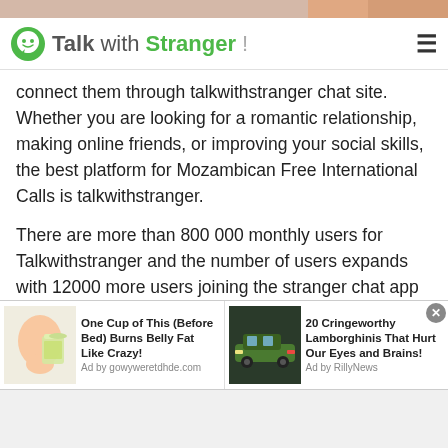[Figure (screenshot): Top partial image strip showing flesh tones, partial photo at top of page]
TalkwithStranger! [hamburger menu icon]
connect them through talkwithstranger chat site. Whether you are looking for a romantic relationship, making online friends, or improving your social skills, the best platform for Mozambican Free International Calls is talkwithstranger.
There are more than 800 000 monthly users for Talkwithstranger and the number of users expands with 12000 more users joining the stranger chat app every day. These numbers are enough to estimate the popularity of the platform. Unlike most ordinary chat sites, Talkwithstranger allows you to chat for free to build
[Figure (screenshot): Advertisement bar: Left ad shows person drinking with text 'One Cup of This (Before Bed) Burns Belly Fat Like Crazy!' Ad by gowyweretdhde.com. Right ad shows green Lamborghini with text '20 Cringeworthy Lamborghinis That Hurt Our Eyes and Brains!' Ad by RillyNews.]